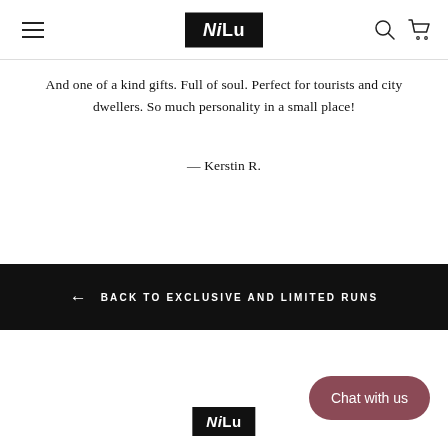NiLu — navigation header with hamburger menu, logo, search and cart icons
And one of a kind gifts. Full of soul. Perfect for tourists and city dwellers. So much personality in a small place!
— Kerstin R.
← BACK TO EXCLUSIVE AND LIMITED RUNS
NiLu logo and Chat with us button